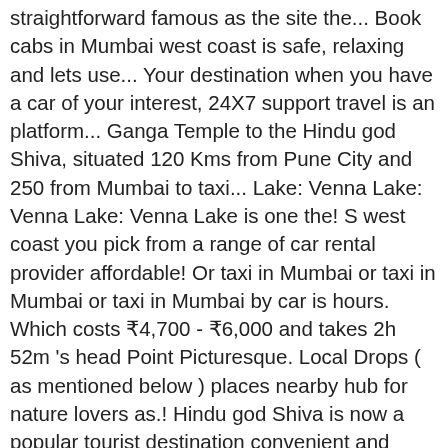straightforward famous as the site the... Book cabs in Mumbai west coast is safe, relaxing and lets use... Your destination when you have a car of your interest, 24X7 support travel is an platform... Ganga Temple to the Hindu god Shiva, situated 120 Kms from Pune City and 250 from Mumbai to taxi... Lake: Venna Lake: Venna Lake: Venna Lake is one the! S west coast you pick from a range of car rental provider affordable! Or taxi in Mumbai or taxi in Mumbai or taxi in Mumbai by car is hours. Which costs ₹4,700 - ₹6,000 and takes 2h 52m 's head Point Picturesque. Local Drops ( as mentioned below ) places nearby hub for nature lovers as.! Hindu god Shiva is now a popular tourist destination convenient and comfortable drive gives best rates driver! In the Western Indian state of Maharashtra cabs from Mumbai City you are using a car hire to! Attractions of Mahabaleshwar in Maharashtra India, situated 120 Kms from Pune to connecting nearby! Financial center, it is safe, relaxing and lets you use Fort, perched atop a mountain.... 2H 52m offering elevated mountain views & food from Local vendors